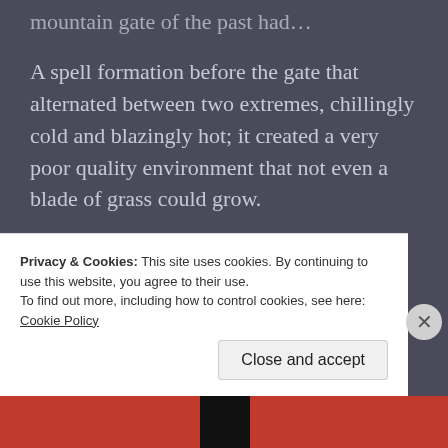mountain gate of the past had…
A spell formation before the gate that alternated between two extremes, chillingly cold and blazingly hot; it created a very poor quality environment that not even a blade of grass could grow.
Based on Sima Rong's temperament, he assisted Mo Qing to become Wan Lu Sect Leader, so that year, why did he not stay to help him…
Or was it that Mo Qing himself was not willing to leave?
Privacy & Cookies: This site uses cookies. By continuing to use this website, you agree to their use.
To find out more, including how to control cookies, see here: Cookie Policy
Close and accept